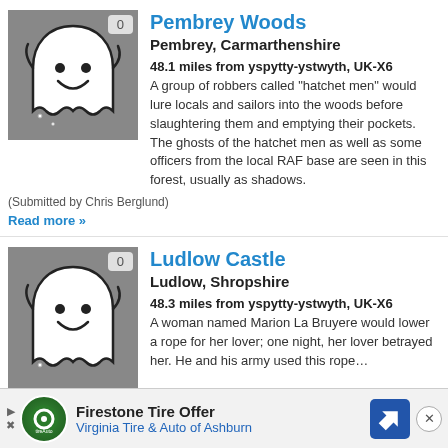[Figure (illustration): Ghost mascot illustration on grey background with vote badge showing 0]
Pembrey Woods
Pembrey, Carmarthenshire
48.1 miles from yspytty-ystwyth, UK-X6
A group of robbers called "hatchet men" would lure locals and sailors into the woods before slaughtering them and emptying their pockets. The ghosts of the hatchet men as well as some officers from the local RAF base are seen in this forest, usually as shadows.
(Submitted by Chris Berglund)
Read more »
[Figure (illustration): Ghost mascot illustration on grey background with vote badge showing 0]
Ludlow Castle
Ludlow, Shropshire
48.3 miles from yspytty-ystwyth, UK-X6
A woman named Marion La Bruyere would lower a rope for her lover; one night, her lover betrayed her. He and his army used this rope...
[Figure (infographic): Firestone Tire Offer advertisement banner - Virginia Tire & Auto of Ashburn]